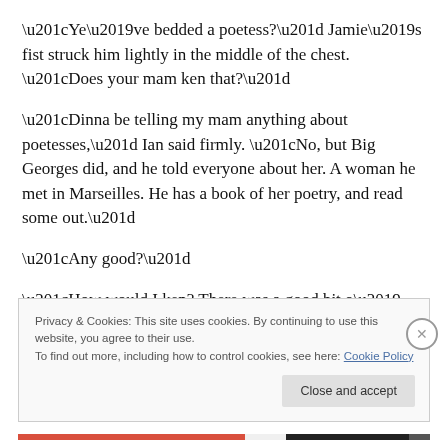“Ye’ve bedded a poetess?” Jamie’s fist struck him lightly in the middle of the chest. “Does your mam ken that?”
“Dinna be telling my mam anything about poetesses,” Ian said firmly. “No, but Big Georges did, and he told everyone about her. A woman he met in Marseilles. He has a book of her poetry, and read some out.”
“Any good?”
“How would I ken? There was a good bit o’ swooning and
Privacy & Cookies: This site uses cookies. By continuing to use this website, you agree to their use.
To find out more, including how to control cookies, see here: Cookie Policy
Close and accept